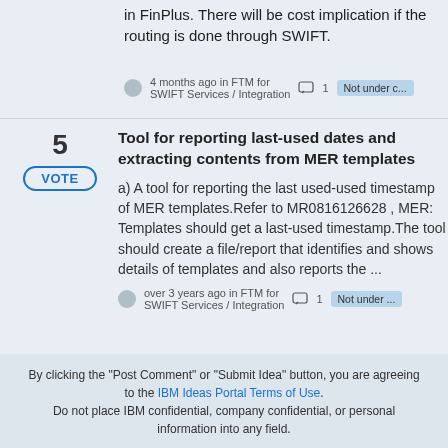in FinPlus. There will be cost implication if the routing is done through SWIFT.
4 months ago in FTM for SWIFT Services / Integration   1   Not under c...
Tool for reporting last-used dates and extracting contents from MER templates
a) A tool for reporting the last used-used timestamp of MER templates.Refer to MR0816126628 , MER: Templates should get a last-used timestamp.The tool should create a file/report that identifies and shows details of templates and also reports the ...
over 3 years ago in FTM for SWIFT Services / Integration   1   Not under ...
By clicking the "Post Comment" or "Submit Idea" button, you are agreeing to the IBM Ideas Portal Terms of Use. Do not place IBM confidential, company confidential, or personal information into any field.